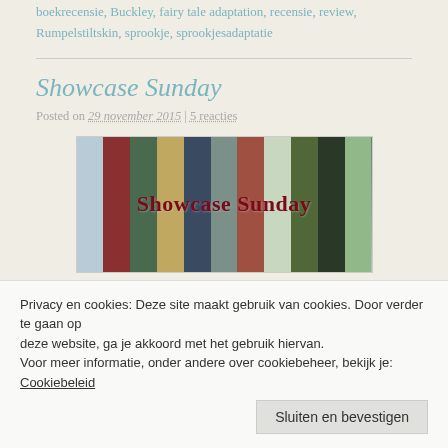boekrecensie, Buckley, fairy tale adaptation, recensie, review, Rumpelstiltskin, sprookje, sprookjesadaptatie
Showcase Sunday
Posted on 29 november 2015 | 5 reacties
[Figure (photo): Showcase Sunday banner image showing books on a shelf with bold red text 'Showcase Sunday' overlaid]
Privacy en cookies: Deze site maakt gebruik van cookies. Door verder te gaan op deze website, ga je akkoord met het gebruik hiervan.
Voor meer informatie, onder andere over cookiebeheer, bekijk je: Cookiebeleid
Sluiten en bevestigen